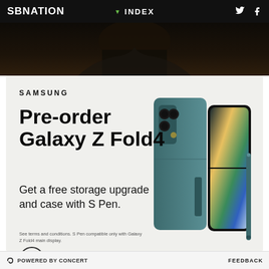SBNATION | INDEX
[Figure (photo): Dark background hero image showing a person, partially visible]
[Figure (photo): Samsung Galaxy Z Fold4 smartphone shown closed with case and S Pen stylus in teal/green color]
SAMSUNG
Pre-order Galaxy Z Fold4
Get a free storage upgrade and case with S Pen.
See terms and conditions. S Pen compatible only with Galaxy Z Fold4 main display.
POWERED BY CONCERT | FEEDBACK